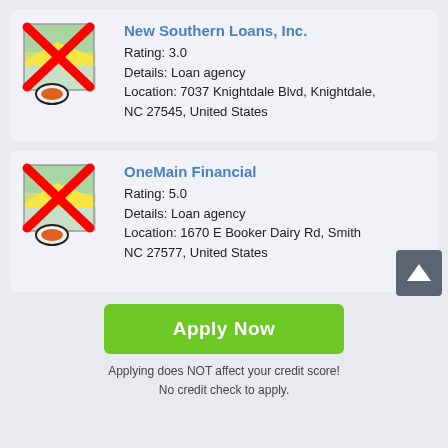[Figure (screenshot): Map icon with red X overlay and location pin for New Southern Loans, Inc.]
New Southern Loans, Inc.
Rating: 3.0
Details: Loan agency
Location: 7037 Knightdale Blvd, Knightdale, NC 27545, United States
[Figure (screenshot): Map icon with red X overlay and location pin for OneMain Financial]
OneMain Financial
Rating: 5.0
Details: Loan agency
Location: 1670 E Booker Dairy Rd, Smith NC 27577, United States
Apply Now
Applying does NOT affect your credit score!
No credit check to apply.